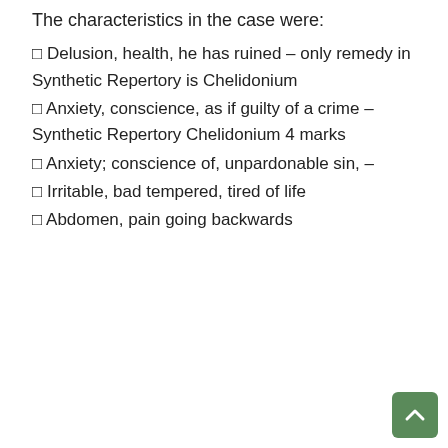The characteristics in the case were:
□ Delusion, health, he has ruined – only remedy in Synthetic Repertory is Chelidonium
□ Anxiety, conscience, as if guilty of a crime – Synthetic Repertory Chelidonium 4 marks
□ Anxiety; conscience of, unpardonable sin, –
□ Irritable, bad tempered, tired of life
□ Abdomen, pain going backwards